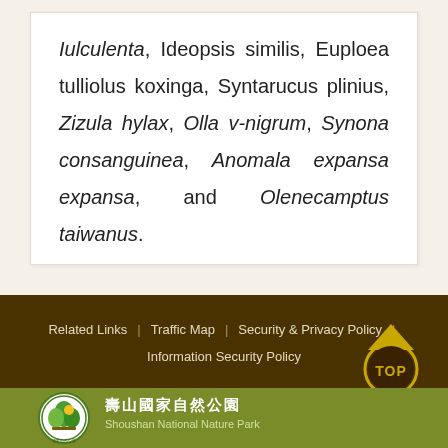Iulculenta, Ideopsis similis, Euploea tulliolus koxinga, Syntarucus plinius, Zizula hylax, Olla v-nigrum, Synona consanguinea, Anomala expansa expansa, and Olenecamptus taiwanus.
Related Links | Traffic Map | Security & Privacy Policy | Information Security Policy
[Figure (logo): Circular green logo with leaf/tree motif for National Nature Park]
壽山國家自然公園
Shoushan National Nature Park